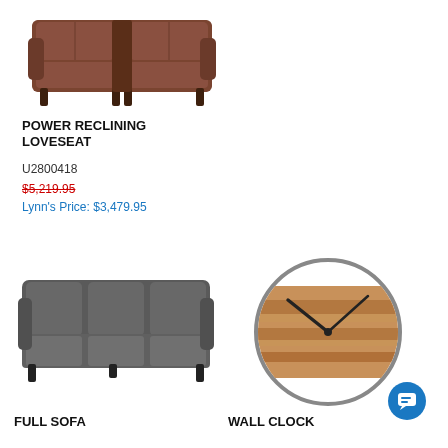[Figure (photo): Brown leather power reclining loveseat product photo on white background]
POWER RECLINING LOVESEAT
U2800418
$5,219.95
Lynn's Price: $3,479.95
[Figure (photo): Dark gray full sofa product photo on white background]
FULL SOFA
[Figure (photo): Round wall clock with rustic wood plank face and thin metal hands]
WALL CLOCK